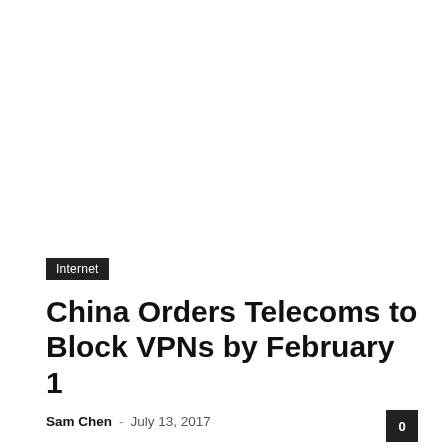Internet
China Orders Telecoms to Block VPNs by February 1
Sam Chen · July 13, 2017